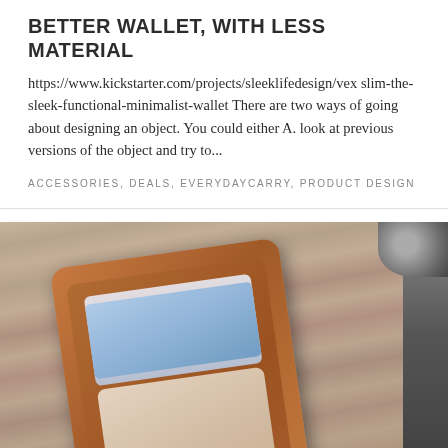BETTER WALLET, WITH LESS MATERIAL
https://www.kickstarter.com/projects/sleeklifedesign/vex slim-the-sleek-functional-minimalist-wallet There are two ways of going about designing an object. You could either A. look at previous versions of the object and try to...
ACCESSORIES, DEALS, EVERYDAYCARRY, PRODUCT DESIGN
[Figure (photo): A brown leather wallet/card holder lying on a wooden surface at an angle, showing credit cards and what appears to be a phone or ID window, with a dark object on the right edge and part of a metal cup in the top right corner.]